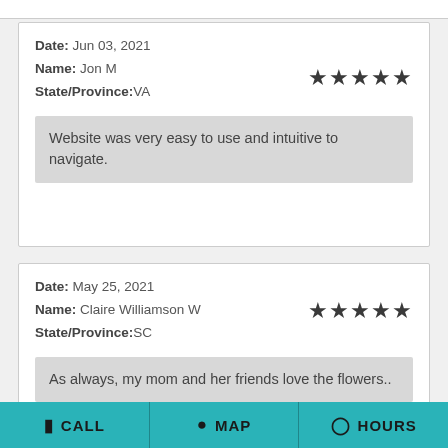Date: Jun 03, 2021
Name: Jon M
State/Province:VA
★★★★★
Website was very easy to use and intuitive to navigate.
Date: May 25, 2021
Name: Claire Williamson W
State/Province:SC
★★★★★
As always, my mom and her friends love the flowers..
CALL  MAP  HOURS